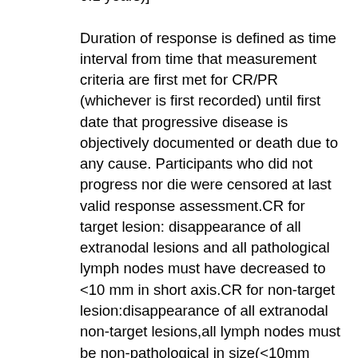0.1 years)] Duration of response is defined as time interval from time that measurement criteria are first met for CR/PR (whichever is first recorded) until first date that progressive disease is objectively documented or death due to any cause. Participants who did not progress nor die were censored at last valid response assessment.CR for target lesion: disappearance of all extranodal lesions and all pathological lymph nodes must have decreased to <10 mm in short axis.CR for non-target lesion:disappearance of all extranodal non-target lesions,all lymph nodes must be non-pathological in size(<10mm short axis) and normalization of tumor marker level.PR:at least a 30% decrease in SLD of target lesions.PD for target lesion:SLD increased by at least 20% from smallest value and must also demonstrate an absolute increase of >=5 mm or development of any new lesion.PD for non-target lesion:unequivocal progression of existing non-target